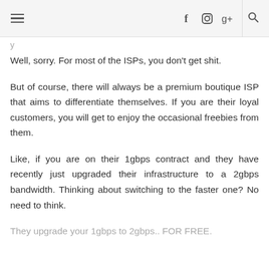≡  f  [instagram]  g+  [search]
Well, sorry. For most of the ISPs, you don't get shit.
But of course, there will always be a premium boutique ISP that aims to differentiate themselves. If you are their loyal customers, you will get to enjoy the occasional freebies from them.
Like, if you are on their 1gbps contract and they have recently just upgraded their infrastructure to a 2gbps bandwidth. Thinking about switching to the faster one? No need to think.
They upgrade your 1gbps to 2gbps.. FOR FREE.